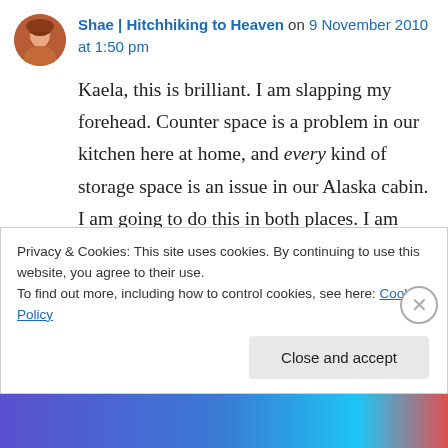Shae | Hitchhiking to Heaven on 9 November 2010 at 1:50 pm
Kaela, this is brilliant. I am slapping my forehead. Counter space is a problem in our kitchen here at home, and every kind of storage space is an issue in our Alaska cabin. I am going to do this in both places. I am sitting in my kitchen right now, eyeing the cabinet — right next to the stove — that will support my new magnetic rack. Now if someone would please
Privacy & Cookies: This site uses cookies. By continuing to use this website, you agree to their use.
To find out more, including how to control cookies, see here: Cookie Policy